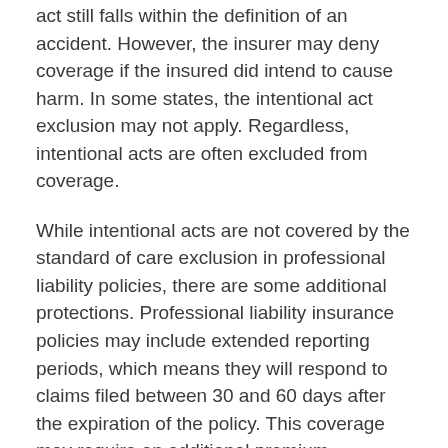act still falls within the definition of an accident. However, the insurer may deny coverage if the insured did intend to cause harm. In some states, the intentional act exclusion may not apply. Regardless, intentional acts are often excluded from coverage.
While intentional acts are not covered by the standard of care exclusion in professional liability policies, there are some additional protections. Professional liability insurance policies may include extended reporting periods, which means they will respond to claims filed between 30 and 60 days after the expiration of the policy. This coverage may require an additional premium. Intentional acts are also excluded from professional liability insurance, so it is important to know which exclusions apply to your policy.
It does not cover property damage